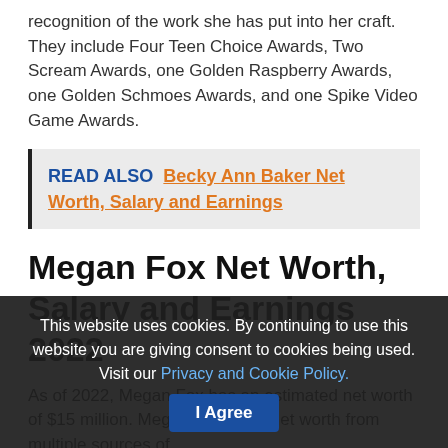recognition of the work she has put into her craft. They include Four Teen Choice Awards, Two Scream Awards, one Golden Raspberry Awards, one Golden Schmoes Awards, and one Spike Video Game Awards.
READ ALSO  Becky Ann Baker Net Worth, Salary and Earnings
Megan Fox Net Worth, Salary and Earnings 2022
As of 2022, Megan Fox has an estimated net worth of $15 million. Megan earns her net worth from multiple sources of
This website uses cookies. By continuing to use this website you are giving consent to cookies being used. Visit our Privacy and Cookie Policy.